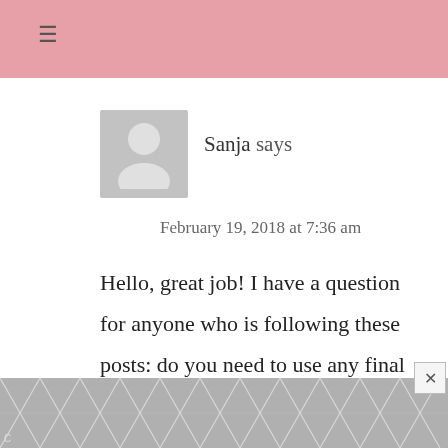≡
[Figure (illustration): Generic grey avatar placeholder with a person silhouette icon]
Sanja says
February 19, 2018 at 7:36 am
Hello, great job! I have a question for anyone who is following these posts: do you need to use any final touches (a clear spray maybe?) to prevent the paint from transferring to your
[Figure (other): Grey geometric diamond/chevron pattern advertisement banner at the bottom of the page]